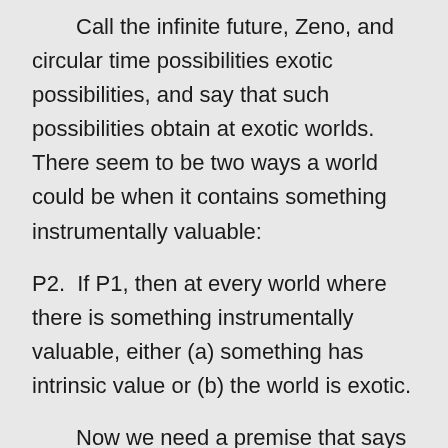Call the infinite future, Zeno, and circular time possibilities exotic possibilities, and say that such possibilities obtain at exotic worlds.  There seem to be two ways a world could be when it contains something instrumentally valuable:
P2.  If P1, then at every world where there is something instrumentally valuable, either (a) something has intrinsic value or (b) the world is exotic.
Now we need a premise that says that something, at some non-exotic world, is instrumentally valuable.  And what reason could